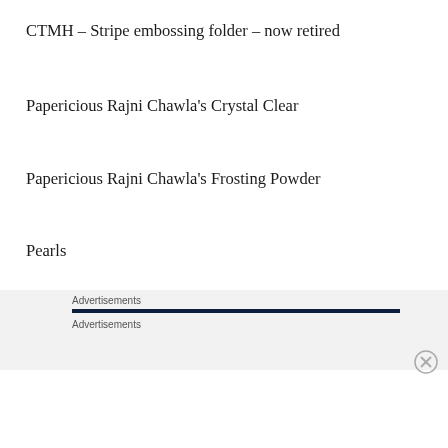CTMH – Stripe embossing folder – now retired
Papericious Rajni Chawla’s Crystal Clear
Papericious Rajni Chawla’s Frosting Powder
Pearls
I hope that you have a go at making these roses and I look forward to seeing what you make.
Advertisements
Advertisements